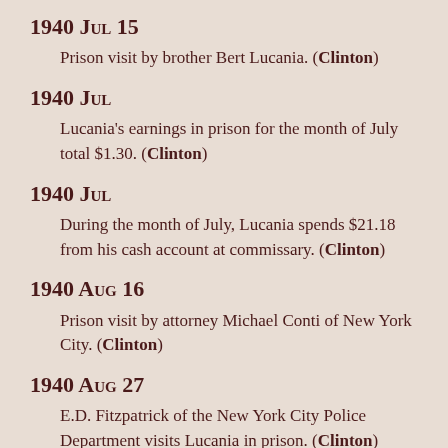1940 Jul 15
Prison visit by brother Bert Lucania. (Clinton)
1940 Jul
Lucania's earnings in prison for the month of July total $1.30. (Clinton)
1940 Jul
During the month of July, Lucania spends $21.18 from his cash account at commissary. (Clinton)
1940 Aug 16
Prison visit by attorney Michael Conti of New York City. (Clinton)
1940 Aug 27
E.D. Fitzpatrick of the New York City Police Department visits Lucania in prison. (Clinton)